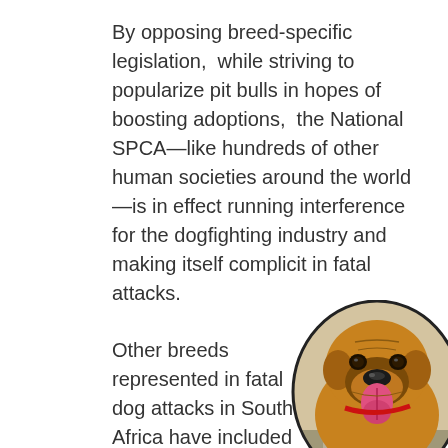By opposing breed-specific legislation,  while striving to popularize pit bulls in hopes of boosting adoptions,  the National SPCA—like hundreds of other human societies around the world—is in effect running interference for the dogfighting industry and making itself complicit in fatal attacks.
Other breeds represented in fatal dog attacks in South Africa have included four
[Figure (photo): A brown/tan dog with a large head, wrinkled forehead, floppy ears, and tongue out, wearing a red collar, photographed in an oval-cropped portrait style against a light background.]